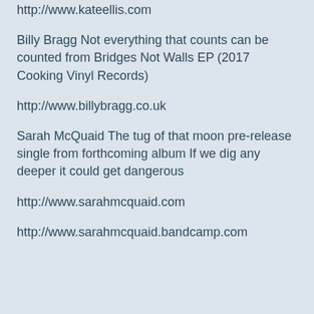http://www.kateellis.com
Billy Bragg Not everything that counts can be counted from Bridges Not Walls EP (2017 Cooking Vinyl Records)
http://www.billybragg.co.uk
Sarah McQuaid The tug of that moon pre-release single from forthcoming album If we dig any deeper it could get dangerous
http://www.sarahmcquaid.com
http://www.sarahmcquaid.bandcamp.com